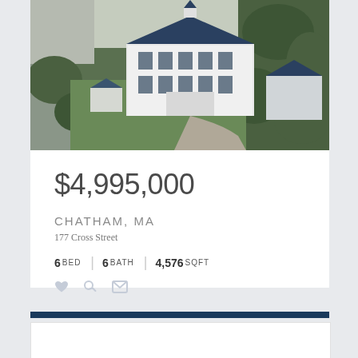[Figure (photo): Aerial drone photograph of a large white multi-story New England style house with dark blue roof, surrounded by mature trees, with additional outbuildings visible, in Chatham, MA]
$4,995,000
CHATHAM, MA
177 Cross Street
6 BED  |  6 BATH  |  4,576 SQFT
UNDER AGREEMENT